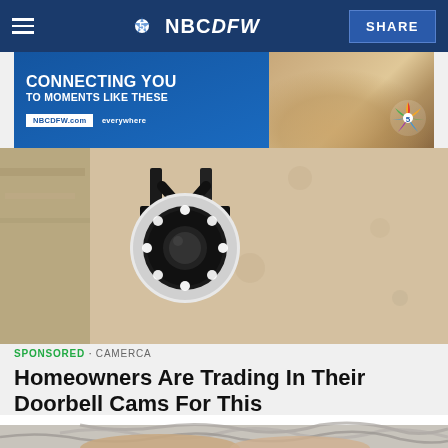NBC 5 NBCDFW | SHARE
[Figure (photo): NBC5 NBCDFW advertisement banner: 'CONNECTING YOU TO MOMENTS LIKE THESE' with NBCDFW.com everywhere tagline and NBC peacock logo, showing a family photo]
[Figure (photo): Security camera mounted on exterior wall of a house, showing a circular camera with LED lights in a metal bracket against a textured beige wall]
SPONSORED · CAMERCA
Homeowners Are Trading In Their Doorbell Cams For This
[Figure (photo): Close-up of elderly person with gray hair, hands on head, viewed from above]